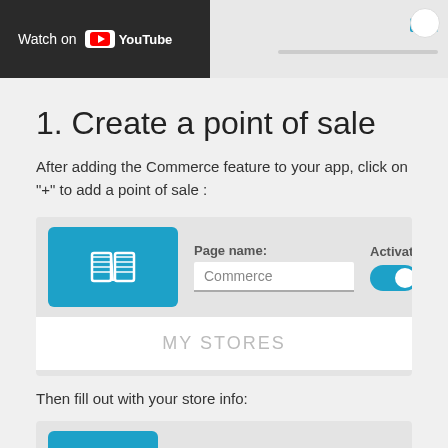[Figure (screenshot): YouTube video thumbnail banner with dark left section showing 'Watch on YouTube' text and logo, light right section with progress bar, and a Now button in teal]
1. Create a point of sale
After adding the Commerce feature to your app, click on "+" to add a point of sale :
[Figure (screenshot): UI screenshot showing a blue icon box with book icon, Page name field with 'Commerce' value, and Activated toggle switch turned on, with MY STORES section below]
Then fill out with your store info:
[Figure (screenshot): Partial UI screenshot showing blue book icon box, Page name label, and Activated label at the bottom of the page]